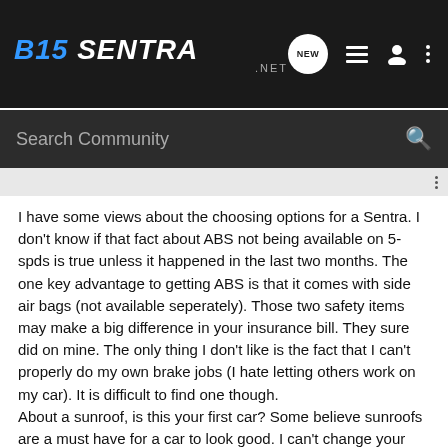B15 SENTRA .NET
Search Community
I have some views about the choosing options for a Sentra. I don't know if that fact about ABS not being available on 5-spds is true unless it happened in the last two months. The one key advantage to getting ABS is that it comes with side air bags (not available seperately). Those two safety items may make a big difference in your insurance bill. They sure did on mine. The only thing I don't like is the fact that I can't properly do my own brake jobs (I hate letting others work on my car). It is difficult to find one though.
About a sunroof, is this your first car? Some believe sunroofs are a must have for a car to look good. I can't change your mind on that. On a mechanical side, they are extremely heavy and all that weight is in the wrong place, on top. Besides, sunroof motors are the first things to break after the warranty is out. Not